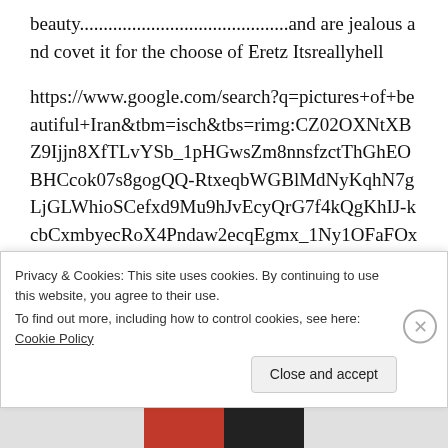beauty.................................................and are jealous and covet it for the choose of Eretz Itsreallyhell
https://www.google.com/search?q=pictures+of+beautiful+Iran&tbm=isch&tbs=rimg:CZ02OXNtXBZ9Ijjn8XfTLvYSb_1pHGwsZm8nnsfzctThGhEOBHCcok07s8gogQQ-RtxeqbWGBlMdNyKqhN7gLjGLWhioSCefxd9Mu9hJvEcyQrG7f4kQgKhIJ-kcbCxmbyecRoX4Pndaw2ecqEgmx_1Ny1OFaFOxGmOA0R2_1rYgSoSCYFcIviTTu
Privacy & Cookies: This site uses cookies. By continuing to use this website, you agree to their use.
To find out more, including how to control cookies, see here: Cookie Policy
Close and accept